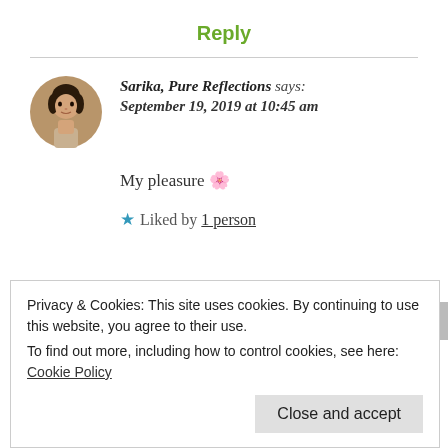Reply
[Figure (photo): Circular avatar photo of a woman with dark hair]
Sarika, Pure Reflections says: September 19, 2019 at 10:45 am
My pleasure 🌸
★ Liked by 1 person
Privacy & Cookies: This site uses cookies. By continuing to use this website, you agree to their use.
To find out more, including how to control cookies, see here: Cookie Policy
Close and accept